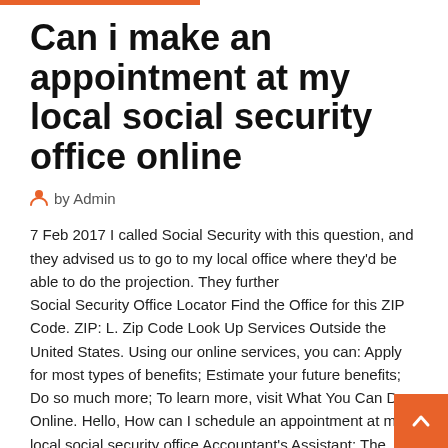Can i make an appointment at my local social security office online
by Admin
7 Feb 2017 I called Social Security with this question, and they advised us to go to my local office where they'd be able to do the projection. They further
Social Security Office Locator Find the Office for this ZIP Code. ZIP: L. Zip Code Look Up Services Outside the United States. Using our online services, you can: Apply for most types of benefits; Estimate your future benefits; Do so much more; To learn more, visit What You Can Do Online. Hello, How can I schedule an appointment at my local social security office Accountant's Assistant: The Retirement Accountant will know